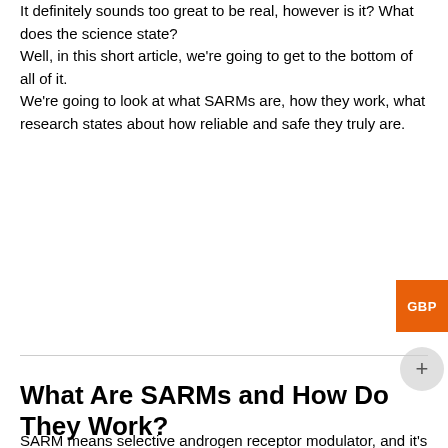It definitely sounds too great to be real, however is it? What does the science state?
Well, in this short article, we're going to get to the bottom of all of it.
We're going to look at what SARMs are, how they work, what research states about how reliable and safe they truly are.
What Are SARMs and How Do They Work?
SARM means selective androgen receptor modulator, and it's a